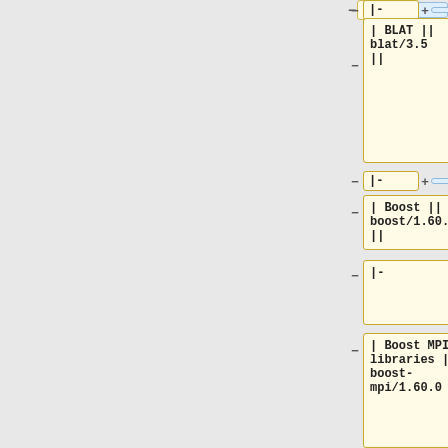| left | right |
| --- | --- |
| |- |  |
| | BLAT || blat/3.5 || | Instead, the user should use <code>module spider opencv</code> to find if the OpenCV module is present. |
| |- |  |
| | Boost || boost/1.60.0 || | <pre> |
| |- | [user@caclogin02 ~]$ module spider opencv |
| | Boost MPI libraries || boost-mpi/1.60.0 || |  |